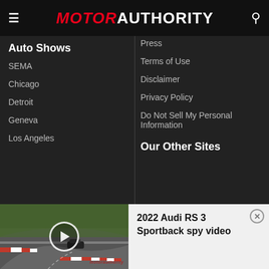MOTOR AUTHORITY
Auto Shows
SEMA
Chicago
Detroit
Geneva
Los Angeles
Press
Terms of Use
Disclaimer
Privacy Policy
Do Not Sell My Personal Information
Our Other Sites
[Figure (screenshot): Video thumbnail showing a dark car on a racing circuit (Nurburgring) with a play button overlay]
2022 Audi RS 3 Sportback spy video